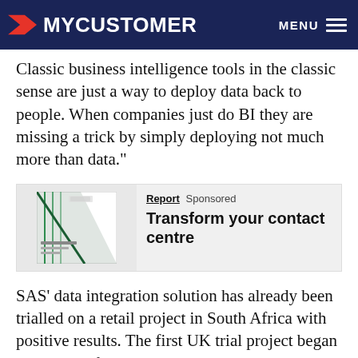MYCUSTOMER  MENU
Classic business intelligence tools in the classic sense are just a way to deploy data back to people. When companies just do BI they are missing a trick by simply deploying not much more than data."
[Figure (other): Book/report cover thumbnail showing a white document with green geometric design]
Report  Sponsored
Transform your contact centre
SAS’ data integration solution has already been trialled on a retail project in South Africa with positive results. The first UK trial project began at the end of August and dunnhumby’s new joint venture with Casino is currently being implemented using SAS’ data integration solution. The aim is for